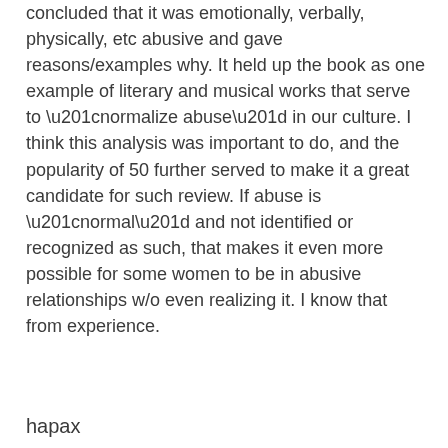concluded that it was emotionally, verbally, physically, etc abusive and gave reasons/examples why. It held up the book as one example of literary and musical works that serve to “normalize abuse” in our culture. I think this analysis was important to do, and the popularity of 50 further served to make it a great candidate for such review. If abuse is “normal” and not identified or recognized as such, that makes it even more possible for some women to be in abusive relationships w/o even realizing it. I know that from experience.
hapax